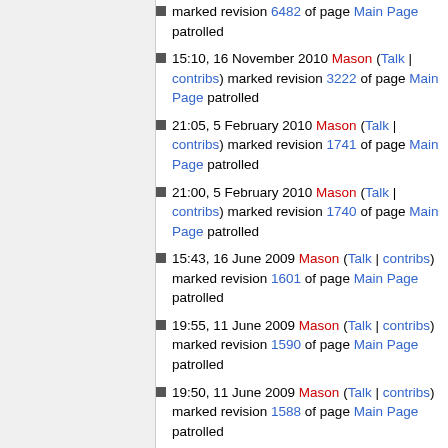marked revision 6482 of page Main Page patrolled
15:10, 16 November 2010 Mason (Talk | contribs) marked revision 3222 of page Main Page patrolled
21:05, 5 February 2010 Mason (Talk | contribs) marked revision 1741 of page Main Page patrolled
21:00, 5 February 2010 Mason (Talk | contribs) marked revision 1740 of page Main Page patrolled
15:43, 16 June 2009 Mason (Talk | contribs) marked revision 1601 of page Main Page patrolled
19:55, 11 June 2009 Mason (Talk | contribs) marked revision 1590 of page Main Page patrolled
19:50, 11 June 2009 Mason (Talk | contribs) marked revision 1588 of page Main Page patrolled
11:39, 1 May 2009 Mason (Talk | contribs) marked revision 1572 of page Main Page patrolled